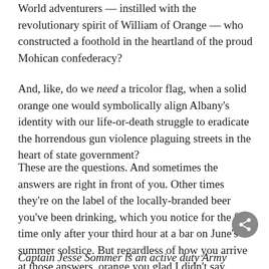World adventurers — instilled with the revolutionary spirit of William of Orange — who constructed a foothold in the heartland of the proud Mohican confederacy?
And, like, do we need a tricolor flag, when a solid orange one would symbolically align Albany's identity with our life-or-death struggle to eradicate the horrendous gun violence plaguing streets in the heart of state government?
These are the questions. And sometimes the answers are right in front of you. Other times they're on the label of the locally-branded beer you've been drinking, which you notice for the first time only after your third hour at a bar on June's summer solstice. But regardless of how you arrive at those answers, orange you glad I didn't say “Central Warehouse?”
Captain Jesse Sommer is an active duty Army paratrooper